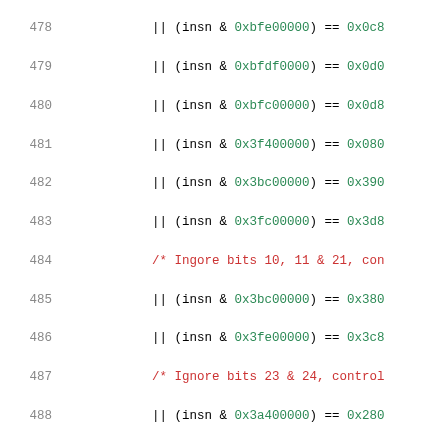Source code listing lines 478-499, C code for CPU signal handler with conditional expressions and preprocessor directives